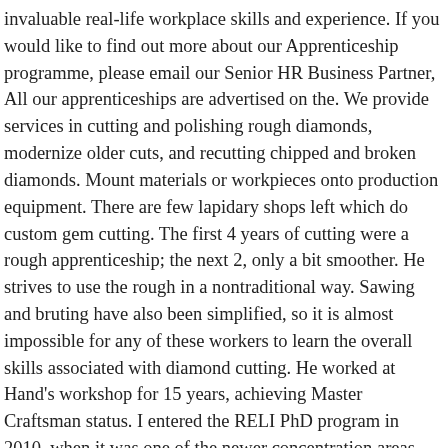invaluable real-life workplace skills and experience. If you would like to find out more about our Apprenticeship programme, please email our Senior HR Business Partner, All our apprenticeships are advertised on the. We provide services in cutting and polishing rough diamonds, modernize older cuts, and recutting chipped and broken diamonds. Mount materials or workpieces onto production equipment. There are few lapidary shops left which do custom gem cutting. The first 4 years of cutting were a rough apprenticeship; the next 2, only a bit smoother. He strives to use the rough in a nontraditional way. Sawing and bruting have also been simplified, so it is almost impossible for any of these workers to learn the overall skills associated with diamond cutting. He worked at Hand's workshop for 15 years, achieving Master Craftsman status. I entered the RELI PhD program in 2010, when it was one of the newer concentration areas. Candidates attending a program through a college or vocational schools will take a … Hardstone carving requires specialized carving techniques. You design it and we cut it the way you want it cut. 22. Gem Cutter. Gems have been part of his life from an early age, as his father travelled the world dealing with